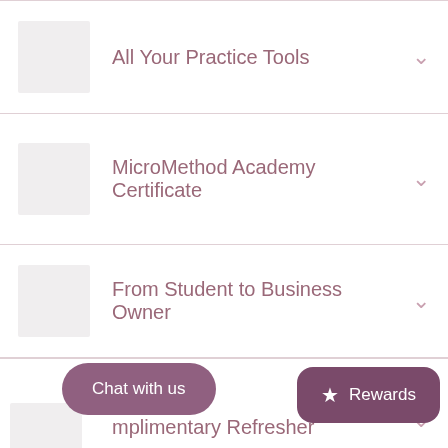All Your Practice Tools
MicroMethod Academy Certificate
From Student to Business Owner
Complimentary Refresher
Chat with us
Rewards